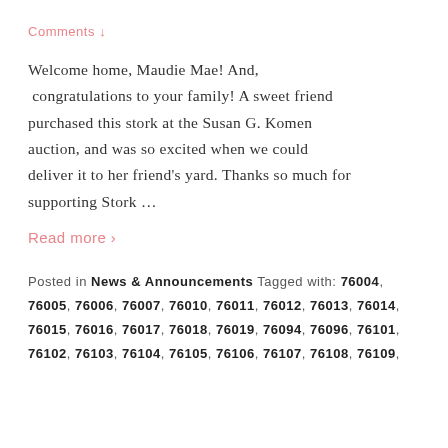Comments ↓
Welcome home, Maudie Mae! And,  congratulations to your family! A sweet friend purchased this stork at the Susan G. Komen auction, and was so excited when we could deliver it to her friend's yard. Thanks so much for supporting Stork …
Read more ›
Posted in News & Announcements Tagged with: 76004, 76005, 76006, 76007, 76010, 76011, 76012, 76013, 76014, 76015, 76016, 76017, 76018, 76019, 76094, 76096, 76101, 76102, 76103, 76104, 76105, 76106, 76107, 76108, 76109,